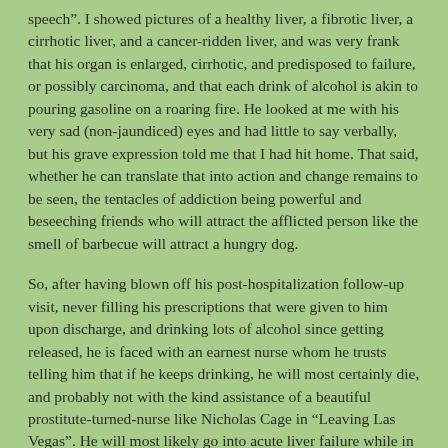speech". I showed pictures of a healthy liver, a fibrotic liver, a cirrhotic liver, and a cancer-ridden liver, and was very frank that his organ is enlarged, cirrhotic, and predisposed to failure, or possibly carcinoma, and that each drink of alcohol is akin to pouring gasoline on a roaring fire. He looked at me with his very sad (non-jaundiced) eyes and had little to say verbally, but his grave expression told me that I had hit home. That said, whether he can translate that into action and change remains to be seen, the tentacles of addiction being powerful and beseeching friends who will attract the afflicted person like the smell of barbecue will attract a hungry dog.
So, after having blown off his post-hospitalization follow-up visit, never filling his prescriptions that were given to him upon discharge, and drinking lots of alcohol since getting released, he is faced with an earnest nurse whom he trusts telling him that if he keeps drinking, he will most certainly die, and probably not with the kind assistance of a beautiful prostitute-turned-nurse like Nicholas Cage in "Leaving Las Vegas". He will most likely go into acute liver failure while in his apartment late at night, with various gruesome clinical situations unfolding too quickly for him to call 911---but wait, he doesn't have a phone. If his liver does go into